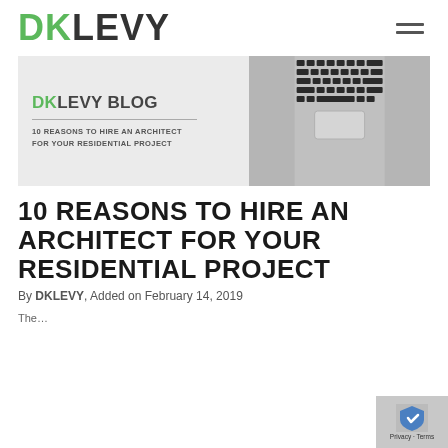DKLEVY
[Figure (infographic): DKLEVY Blog banner with laptop keyboard image. Text reads: DKLEVY BLOG — 10 REASONS TO HIRE AN ARCHITECT FOR YOUR RESIDENTIAL PROJECT]
10 REASONS TO HIRE AN ARCHITECT FOR YOUR RESIDENTIAL PROJECT
By DKLEVY, Added on February 14, 2019
The...